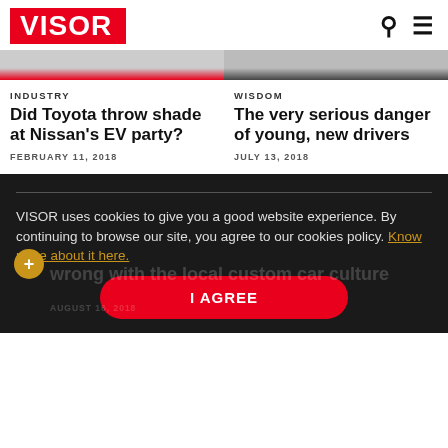VISOR
[Figure (photo): Two cropped article thumbnail images side by side]
INDUSTRY
Did Toyota throw shade at Nissan's EV party?
FEBRUARY 11, 2018
WISDOM
The very serious danger of young, new drivers
JULY 13, 2018
VISOR uses cookies to give you a good website experience. By continuing to browse our site, you agree to our cookies policy. Know more about it here.
wrong with the local custom car culture
I AGREE